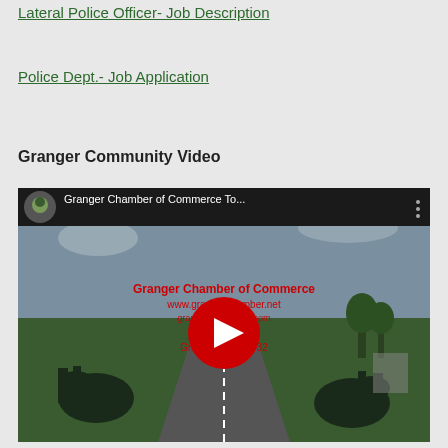Lateral Police Officer- Job Description
Police Dept.- Job Application
Granger Community Video
[Figure (screenshot): YouTube video embed thumbnail showing Granger Chamber of Commerce Town video. The thumbnail shows a road with dinosaur statues on either side, text overlay reading 'Granger Chamber of Commerce www.grangerchamber.net grangerch...@gmail.com P.O. ...50 Granger, WA 98932' in red. A red YouTube play button is centered on the image. The video header shows a Chamber of Commerce logo avatar and the title 'Granger Chamber of Commerce To...' with a three-dot menu icon.]